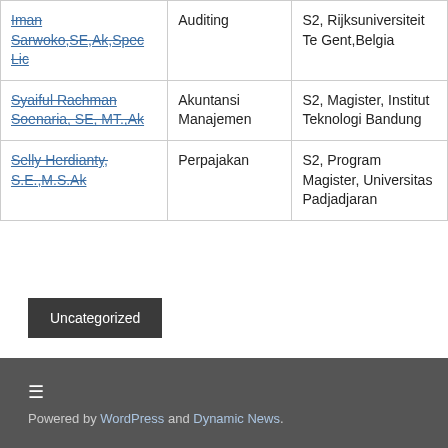| Iman Sarwoko,SE,Ak,Spec Lic | Auditing | S2, Rijksuniversiteit Te Gent,Belgia |
| Syaiful Rachman Soenaria, SE, MT.,Ak | Akuntansi Manajemen | S2, Magister, Institut Teknologi Bandung |
| Selly Herdianty, S.E.,M.S.Ak | Perpajakan | S2, Program Magister, Universitas Padjadjaran |
Uncategorized
Powered by WordPress and Dynamic News.